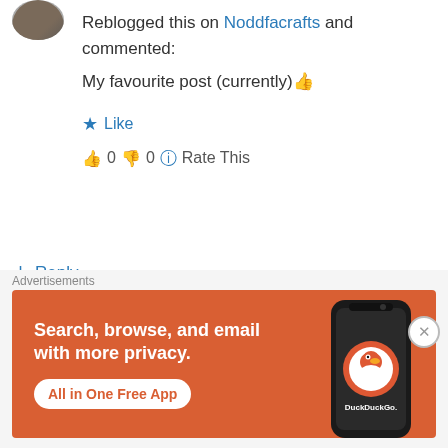[Figure (photo): Avatar photo of user, partially visible at top left]
Reblogged this on Noddfacrafts and commented:
My favourite post (currently) 👍
★ Like
👍 0 👎 0 ℹ Rate This
↳ Reply
kayseartsandhealth on November 24, 2013 at 7:38 pm
[Figure (screenshot): DuckDuckGo advertisement banner: Search, browse, and email with more privacy. All in One Free App.]